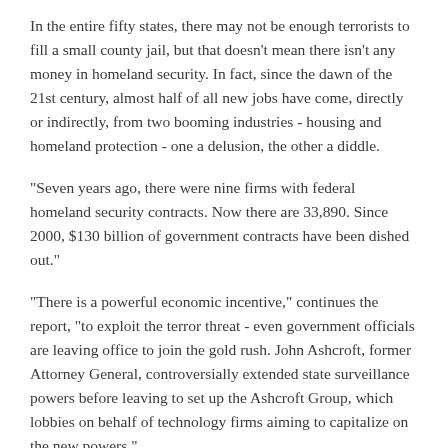In the entire fifty states, there may not be enough terrorists to fill a small county jail, but that doesn't mean there isn't any money in homeland security. In fact, since the dawn of the 21st century, almost half of all new jobs have come, directly or indirectly, from two booming industries - housing and homeland protection - one a delusion, the other a diddle.
"Seven years ago, there were nine firms with federal homeland security contracts. Now there are 33,890. Since 2000, $130 billion of government contracts have been dished out."
"There is a powerful economic incentive," continues the report, "to exploit the terror threat - even government officials are leaving office to join the gold rush. John Ashcroft, former Attorney General, controversially extended state surveillance powers before leaving to set up the Ashcroft Group, which lobbies on behalf of technology firms aiming to capitalize on the new powers."
The Observer wonders whether the money was well